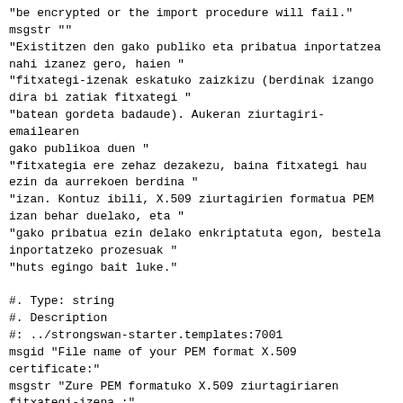"be encrypted or the import procedure will fail."
msgstr ""
"Existitzen den gako publiko eta pribatua inportatzea
nahi izanez gero, haien "
"fitxategi-izenak eskatuko zaizkizu (berdinak izango
dira bi zatiak fitxategi "
"batean gordeta badaude). Aukeran ziurtagiri-emailearen
gako publikoa duen "
"fitxategia ere zehaz dezakezu, baina fitxategi hau
ezin da aurrekoen berdina "
"izan. Kontuz ibili, X.509 ziurtagirien formatua PEM
izan behar duelako, eta "
"gako pribatua ezin delako enkriptatuta egon, bestela
inportatzeko prozesuak "
"huts egingo bait luke."

#. Type: string
#. Description
#: ../strongswan-starter.templates:7001
msgid "File name of your PEM format X.509 certificate:"
msgstr "Zure PEM formatuko X.509 ziurtagiriaren
fitxategi-izena :"

#. Type: string
#. Description
#: ../strongswan-starter.templates:7001
msgid ""
"Please enter the location of the file containing your
X.509 certificate in "
"PEM format."